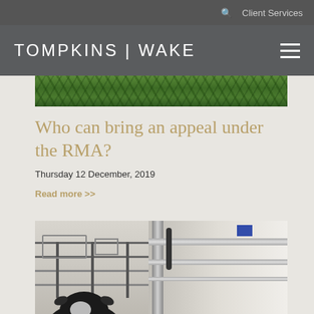Client Services
TOMPKINS | WAKE
[Figure (photo): Green foliage/hedge strip image]
Who can bring an appeal under the RMA?
Thursday 12 December, 2019
Read more >>
[Figure (photo): Farm scene with cows, metal piping and fencing equipment]